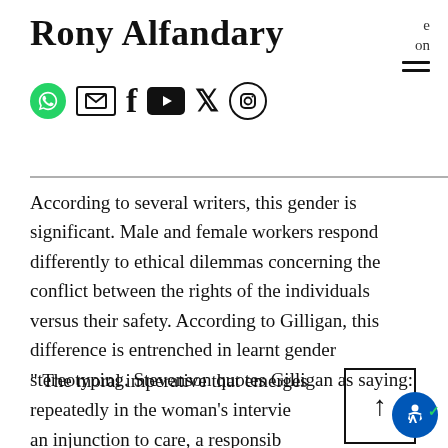Rony Alfandary
According to several writers, this gender is significant. Male and female workers respond differently to ethical dilemmas concerning the conflict between the rights of the individuals versus their safety. According to Gilligan, this difference is entrenched in learnt gender stereotyping. Stevenson quotes Gilligan as saying:
" The moral imperative that emerges repeatedly in the woman's interviews is an injunction to care, a responsibility to discern and alleviate 'the real and